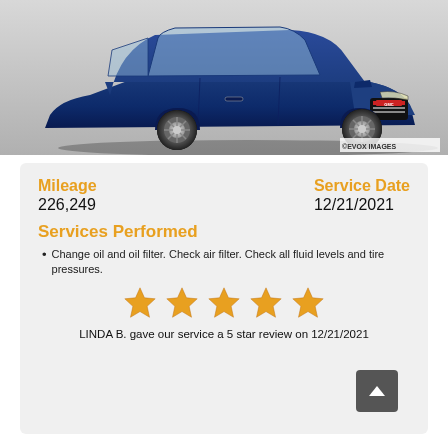[Figure (photo): Blue GMC SUV (Envoy/Yukon) photographed from front-left angle on grey background. EVOX IMAGES watermark in bottom right corner.]
Mileage
226,249
Service Date
12/21/2021
Services Performed
Change oil and oil filter. Check air filter. Check all fluid levels and tire pressures.
[Figure (infographic): 5 gold star rating icons in a row]
LINDA B. gave our service a 5 star review on 12/21/2021